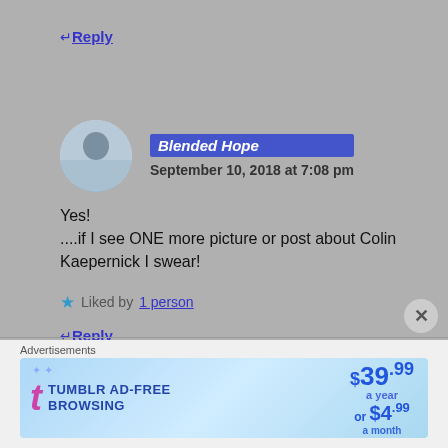↵Reply
Blended Hope
September 10, 2018 at 7:08 pm
Yes!
....if I see ONE more picture or post about Colin Kaepernick I swear!
★ Liked by 1 person
↵Reply
Advertisements
[Figure (other): Tumblr Ad-Free Browsing advertisement banner: $39.99 a year or $4.99 a month]